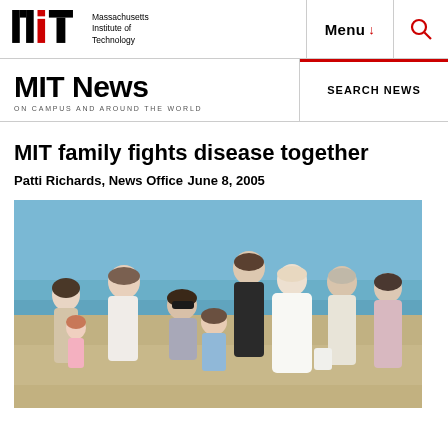Massachusetts Institute of Technology | Menu | Search
MIT News ON CAMPUS AND AROUND THE WORLD
MIT family fights disease together
Patti Richards, News Office
June 8, 2005
[Figure (photo): Group family photo on a beach. Multiple adults and children posing together, some in wedding attire (bride in white dress), taken outdoors with blue sky and ocean in background.]